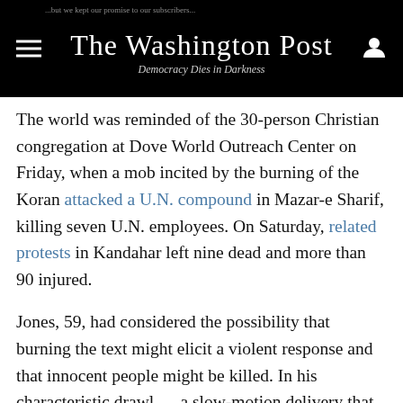The Washington Post — Democracy Dies in Darkness
The world was reminded of the 30-person Christian congregation at Dove World Outreach Center on Friday, when a mob incited by the burning of the Koran attacked a U.N. compound in Mazar-e Sharif, killing seven U.N. employees. On Saturday, related protests in Kandahar left nine dead and more than 90 injured.
Jones, 59, had considered the possibility that burning the text might elicit a violent response and that innocent people might be killed. In his characteristic drawl — a slow-motion delivery that seems incongruous with the church's fiery rhetoric — the pastor said the church also debated whether to shred the book, shoot it or dunk it in